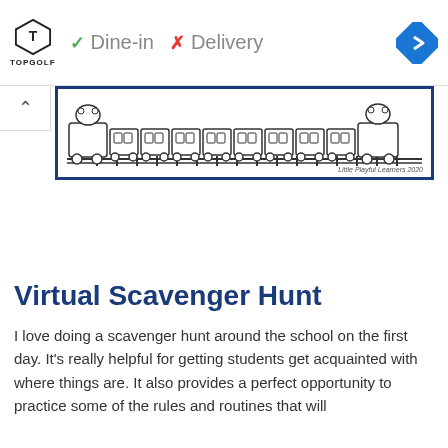[Figure (screenshot): Advertisement banner showing TopGolf logo with green checkmark 'Dine-in' and red X 'Delivery', plus a blue navigation diamond icon on the right]
[Figure (illustration): A train with cartoon animals at each end, drawn in black and white. The train has many windows/cars on a track. Watermark reads 'Little Playful Learners 2020'. Shown inside a dark blue border frame.]
Virtual Scavenger Hunt
I love doing a scavenger hunt around the school on the first day. It's really helpful for getting students get acquainted with where things are. It also provides a perfect opportunity to practice some of the rules and routines that will